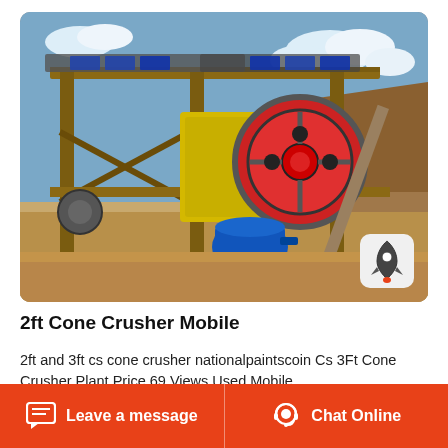[Figure (photo): Outdoor industrial crusher plant with steel frame structure, large circular flywheel with red center, blue electric motor, and yellow crusher body. Rocky terrain and blue sky with clouds in background.]
2ft Cone Crusher Mobile
2ft and 3ft cs cone crusher nationalpaintscoin Cs 3Ft Cone Crusher Plant Price 69 Views Used Mobile
Leave a message   Chat Online